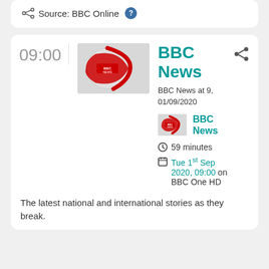Source: BBC Online
09:00
[Figure (photo): BBC News globe logo thumbnail]
BBC News
BBC News at 9, 01/09/2020
[Figure (photo): BBC News small logo]
BBC News
59 minutes
Tue 1st Sep 2020, 09:00 on BBC One HD
The latest national and international stories as they break.